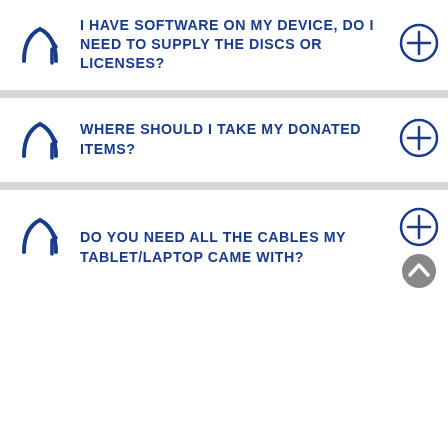I HAVE SOFTWARE ON MY DEVICE, DO I NEED TO SUPPLY THE DISCS OR LICENSES?
WHERE SHOULD I TAKE MY DONATED ITEMS?
DO YOU NEED ALL THE CABLES MY TABLET/LAPTOP CAME WITH?